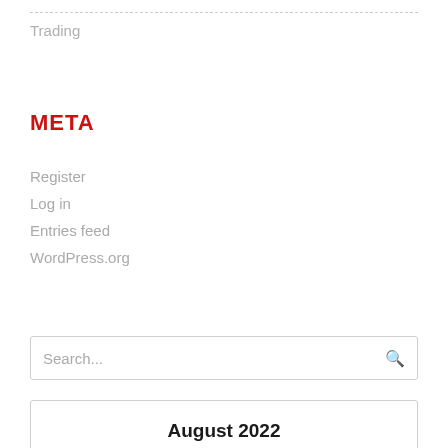Trading
META
Register
Log in
Entries feed
WordPress.org
Search...
August 2022